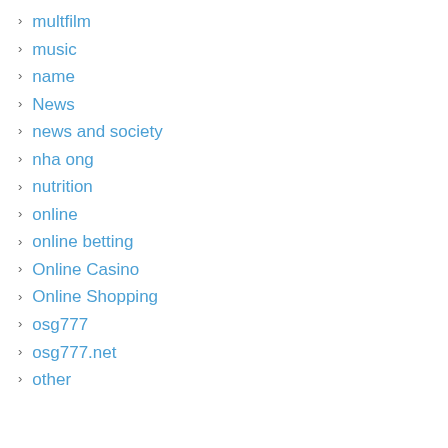multfilm
music
name
News
news and society
nha ong
nutrition
online
online betting
Online Casino
Online Shopping
osg777
osg777.net
other